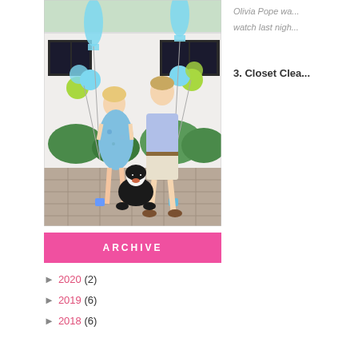[Figure (photo): A couple standing outdoors in front of a white brick house holding blue and green balloon arrangements shaped like baby bottles. The woman is wearing a floral blue dress and appears pregnant. The man is wearing a light blue polo shirt and white shorts. A black and white dog sits in front of them on a paved stone patio.]
ARCHIVE
► 2020 (2)
► 2019 (6)
► 2018 (6)
Olivia Pope wa... watch last nigh...
3. Closet Clea...